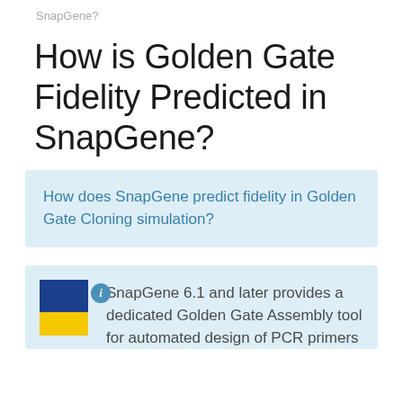SnapGene?
How is Golden Gate Fidelity Predicted in SnapGene?
How does SnapGene predict fidelity in Golden Gate Cloning simulation?
SnapGene 6.1 and later provides a dedicated Golden Gate Assembly tool for automated design of PCR primers